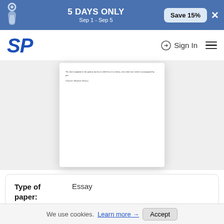5 DAYS ONLY Sep 1 - Sep 5 Save 15%
[Figure (logo): SP logo in bold italic blue text, representing StudyPool or similar academic service]
Sign In
[Figure (screenshot): Partial view of a document page with small text including 'Patient's Medical History']
| Label | Value |
| --- | --- |
| Type of paper: | Essay |
| Categories: | Health and Social Care, Research, |
We use cookies. Learn more → Accept